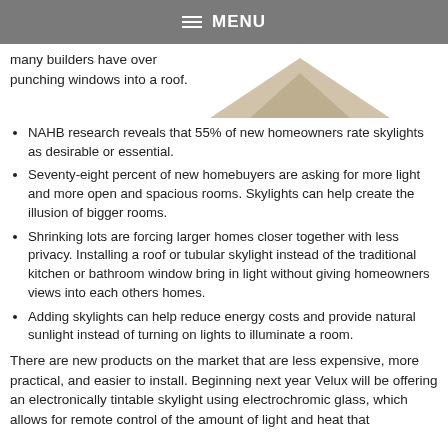MENU
many builders have over punching windows into a roof.
[Figure (illustration): Partial view of a roof/skylight shape in grey/tan tones]
NAHB research reveals that 55% of new homeowners rate skylights as desirable or essential.
Seventy-eight percent of new homebuyers are asking for more light and more open and spacious rooms. Skylights can help create the illusion of bigger rooms.
Shrinking lots are forcing larger homes closer together with less privacy. Installing a roof or tubular skylight instead of the traditional kitchen or bathroom window bring in light without giving homeowners views into each others homes.
Adding skylights can help reduce energy costs and provide natural sunlight instead of turning on lights to illuminate a room.
There are new products on the market that are less expensive, more practical, and easier to install. Beginning next year Velux will be offering an electronically tintable skylight using electrochromic glass, which allows for remote control of the amount of light and heat that